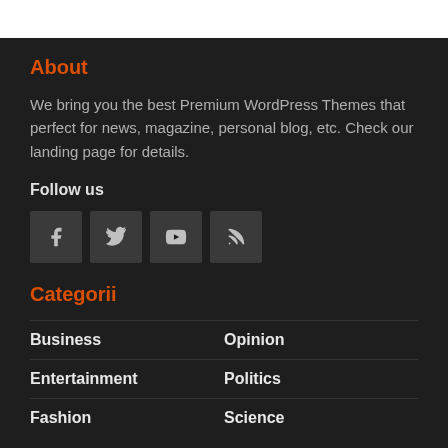About
We bring you the best Premium WordPress Themes that perfect for news, magazine, personal blog, etc. Check our landing page for details.
Follow us
[Figure (infographic): Four social media icon buttons: Facebook, Twitter, YouTube, RSS feed]
Categorii
Business
Opinion
Entertainment
Politics
Fashion
Science